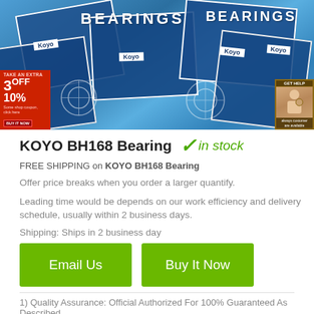[Figure (photo): Photo of KOYO brand bearing boxes stacked together, blue packaging with BEARINGS text and Koyo brand labels visible]
KOYO BH168 Bearing ✓in stock
FREE SHIPPING on KOYO BH168 Bearing
Offer price breaks when you order a larger quantify.
Leading time would be depends on our work efficiency and delivery schedule, usually within 2 business days.
Shipping: Ships in 2 business day
Email Us
Buy It Now
1) Quality Assurance: Official Authorized For 100% Guaranteed As Described